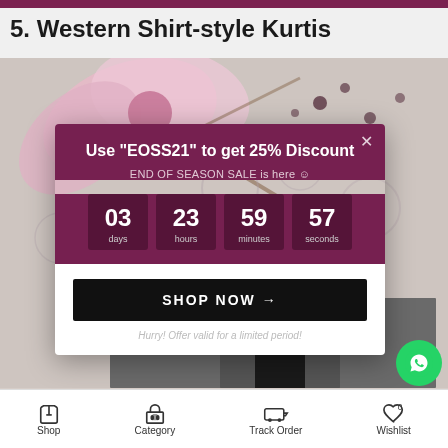5. Western Shirt-style Kurtis
[Figure (screenshot): E-commerce website popup modal showing End of Season Sale discount offer with countdown timer. The modal has a dark purple/maroon header with text 'Use "EOSS21" to get 25% Discount' and 'END OF SEASON SALE is here' with a smiley emoji. A countdown shows 03 days, 23 hours, 59 minutes, 57 seconds. A black SHOP NOW button and 'Hurry! Offer valid for a limited period!' text appear below. Background shows a floral pattern image. A WhatsApp button appears bottom right.]
Shop   Category   Track Order   Wishlist